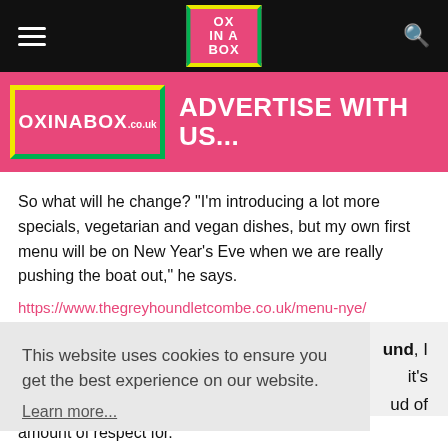OX IN A BOX
[Figure (logo): OxInABox.co.uk advertisement banner with pink background and colored border]
So what will he change? "I'm introducing a lot more specials, vegetarian and vegan dishes, but my own first menu will be on New Year's Eve when we are really pushing the boat out," he says.
https://www.thegreyhoundletcombe.co.uk/menu-nye/
This website uses cookies to ensure you get the best experience on our website. Learn more...
Got It
amount of respect for.